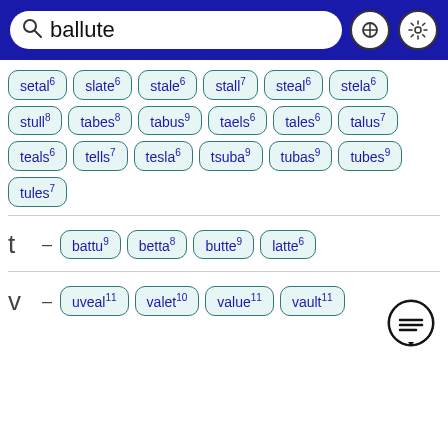[Figure (screenshot): Search bar with text 'ballute', X button, and settings gear icon on dark blue background]
setal6 slate6 stale6 stall7 steal6 stela6 stull8 tabes8 tabus9 taels6 tales6 talus7 teals6 tells7 tesla6 tsuba9 tubas9 tubes9 tules7
t – battu9 betta8 butte9 latte6
v – uveal11 valet10 value11 vault11